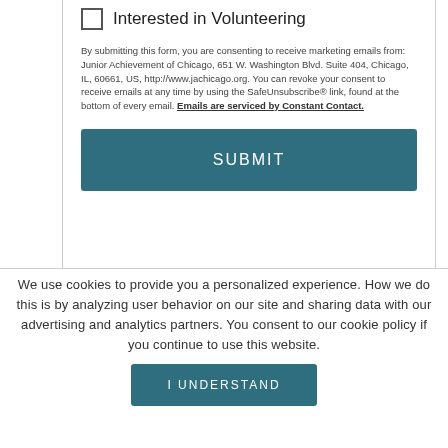Interested in Volunteering
By submitting this form, you are consenting to receive marketing emails from: Junior Achievement of Chicago, 651 W. Washington Blvd. Suite 404, Chicago, IL, 60661, US, http://www.jachicago.org. You can revoke your consent to receive emails at any time by using the SafeUnsubscribe® link, found at the bottom of every email. Emails are serviced by Constant Contact.
SUBMIT
We use cookies to provide you a personalized experience. How we do this is by analyzing user behavior on our site and sharing data with our advertising and analytics partners. You consent to our cookie policy if you continue to use this website.
I UNDERSTAND